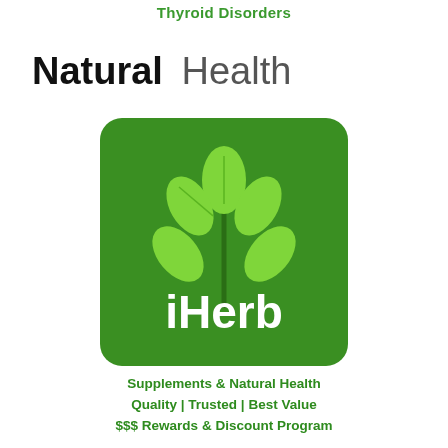Thyroid Disorders
Natural Health
[Figure (logo): iHerb logo: green rounded square with a light green plant/leaf illustration above white bold text reading 'iHerb']
Supplements & Natural Health
Quality | Trusted | Best Value
$$$ Rewards & Discount Program